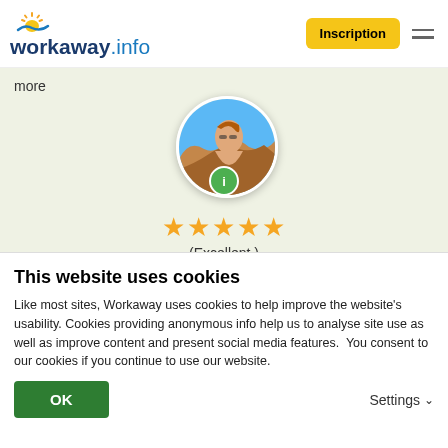[Figure (logo): workaway.info logo with sun graphic]
Inscription
more
[Figure (photo): Circular profile avatar photo with green info badge, showing a person outdoors]
★★★★★ (Excellent)
26.05.2021
Laissé par l'hôte pour le workawayer (Anna)
This website uses cookies
Like most sites, Workaway uses cookies to help improve the website's usability. Cookies providing anonymous info help us to analyse site use as well as improve content and present social media features.  You consent to our cookies if you continue to use our website.
OK
Settings